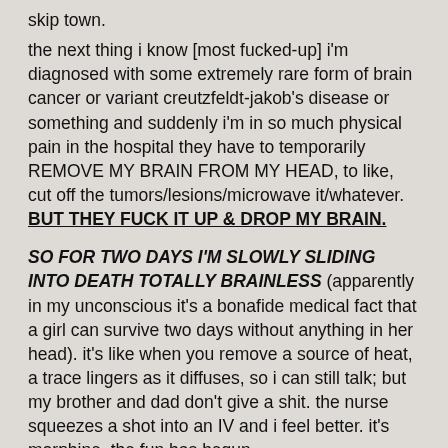skip town.
the next thing i know [most fucked-up] i'm diagnosed with some extremely rare form of brain cancer or variant creutzfeldt-jakob's disease or something and suddenly i'm in so much physical pain in the hospital they have to temporarily REMOVE MY BRAIN FROM MY HEAD, to like, cut off the tumors/lesions/microwave it/whatever. BUT THEY FUCK IT UP & DROP MY BRAIN.
SO FOR TWO DAYS I'M SLOWLY SLIDING INTO DEATH TOTALLY BRAINLESS (apparently in my unconscious it's a bonafide medical fact that a girl can survive two days without anything in her head). it's like when you remove a source of heat, a trace lingers as it diffuses, so i can still talk; but my brother and dad don't give a shit. the nurse squeezes a shot into an IV and i feel better. it's morphine. the fun has begun.